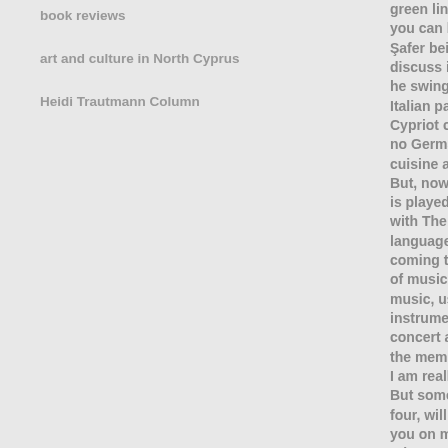book reviews
art and culture in North Cyprus
Heidi Trautmann Column
green line - just you can bet, thes Şafer being the C discuss it; a goo he swings his co Italian pasta, so Cypriot cuisine, no German saus cuisine and at ve But, now it come is played there, t with The Gomm language, or bea coming together of music, it is a m music, using all s instrumental jus concert at the Be the members of I am really sorry But some of the  four, will play at you on my websi When you next c light meal or for Tele...